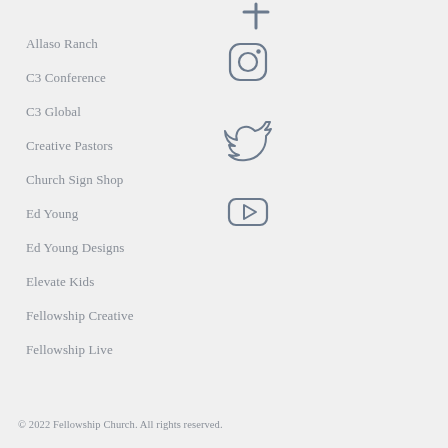Allaso Ranch
C3 Conference
C3 Global
Creative Pastors
Church Sign Shop
Ed Young
Ed Young Designs
Elevate Kids
Fellowship Creative
Fellowship Live
[Figure (illustration): Social media icons: partial Facebook/cross icon at top, Instagram icon, Twitter bird icon, YouTube play button icon — all outlined in muted steel blue on light gray background]
© 2022 Fellowship Church. All rights reserved.